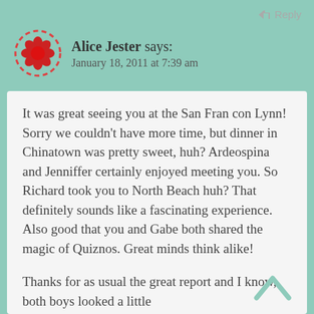Reply
Alice Jester says: January 18, 2011 at 7:39 am
It was great seeing you at the San Fran con Lynn! Sorry we couldn’t have more time, but dinner in Chinatown was pretty sweet, huh? Ardeospina and Jenniffer certainly enjoyed meeting you. So Richard took you to North Beach huh? That definitely sounds like a fascinating experience. Also good that you and Gabe both shared the magic of Quiznos. Great minds think alike!
Thanks for as usual the great report and I know, both boys looked a little